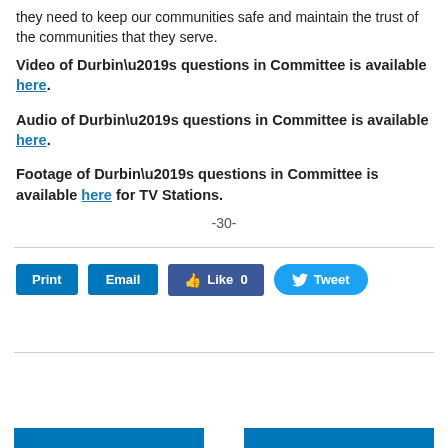they need to keep our communities safe and maintain the trust of the communities that they serve.
Video of Durbin’s questions in Committee is available here.
Audio of Durbin’s questions in Committee is available here.
Footage of Durbin’s questions in Committee is available here for TV Stations.
-30-
[Figure (other): Social sharing buttons: Print, Email, Facebook Like (0), Twitter Tweet]